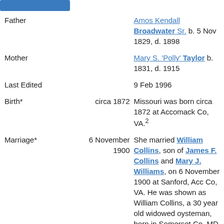[Figure (other): Blue navigation button bar at top left]
| Field | Date | Detail |
| --- | --- | --- |
| Father |  | Amos Kendall Broadwater Sr. b. 5 Nov 1829, d. 1898 |
| Mother |  | Mary S. 'Polly' Taylor b. 1831, d. 1915 |
| Last Edited |  | 9 Feb 1996 |
| Birth* | circa 1872 | Missouri was born circa 1872 at Accomack Co, VA.2 |
| Marriage* | 6 November 1900 | She married William Collins, son of James F. Collins and Mary J. Williams, on 6 November 1900 at Sanford, Acc Co, VA. He was shown as William Collins, a 30 year old widowed oysteman, born in Somerset Co, MD, the son of James & Mollie |